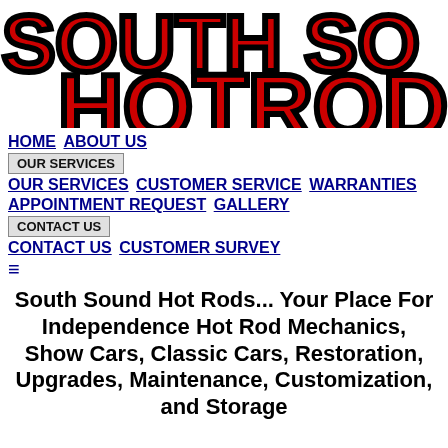[Figure (logo): South Sound Hot Rods logo — large bold red and black text reading SOUTH SO... HOTROD... (partially cropped)]
HOME  ABOUT US  OUR SERVICES  OUR SERVICES  CUSTOMER SERVICE  WARRANTIES  APPOINTMENT REQUEST  GALLERY  CONTACT US  CONTACT US  CUSTOMER SURVEY  ≡
South Sound Hot Rods... Your Place For Independence Hot Rod Mechanics, Show Cars, Classic Cars, Restoration, Upgrades, Maintenance, Customization, and Storage